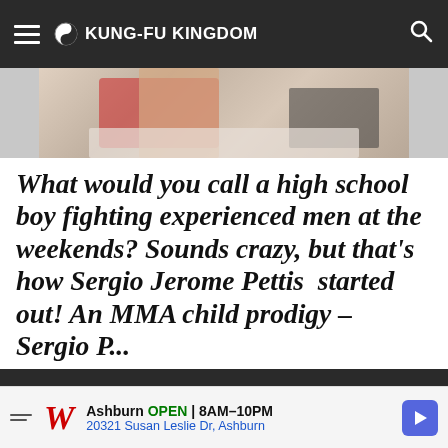KUNG-FU KINGDOM
[Figure (photo): Partial photo of a martial arts or MMA fighter, showing upper body/arm area on a mat]
What would you call a high school boy fighting experienced men at the weekends? Sounds crazy, but that's how Sergio Jerome Pettis  started out! An MMA child prodigy – Sergio P...
We use cookies on our website to give you the most relevant experience by remembering your preferences and repeat visits. By clicking "Accept", you consent to the use of ALL the cookies.
[Figure (screenshot): Walgreens advertisement banner: Ashburn OPEN 8AM-10PM, 20321 Susan Leslie Dr, Ashburn]